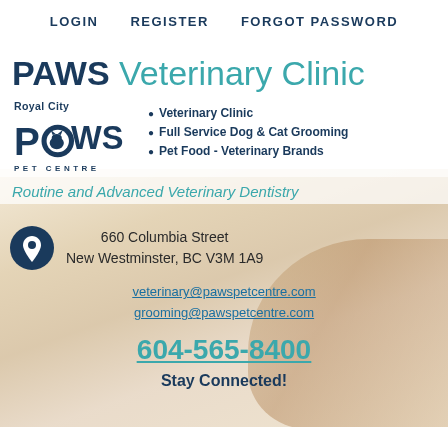LOGIN   REGISTER   FORGOT PASSWORD
PAWS Veterinary Clinic
[Figure (logo): Royal City PAWS PET CENTRE logo with stylized paw and animal silhouette]
Veterinary Clinic
Full Service Dog & Cat Grooming
Pet Food - Veterinary Brands
Routine and Advanced Veterinary Dentistry
660 Columbia Street
New Westminster, BC V3M 1A9
veterinary@pawspetcentre.com
grooming@pawspetcentre.com
604-565-8400
Stay Connected!